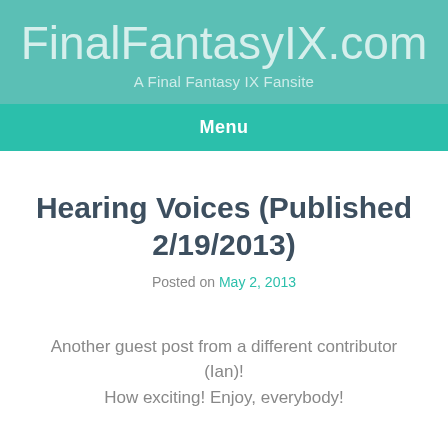FinalFantasyIX.com
A Final Fantasy IX Fansite
Menu
Hearing Voices (Published 2/19/2013)
Posted on May 2, 2013
Another guest post from a different contributor (Ian)! How exciting! Enjoy, everybody!